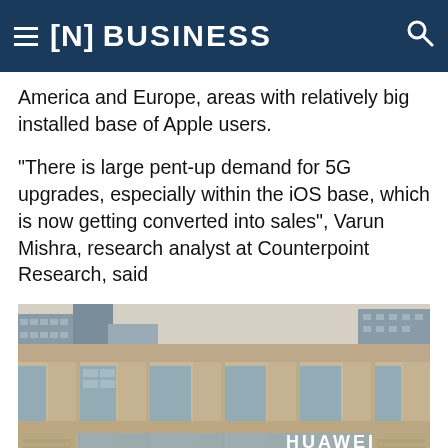≡ [N] BUSINESS
America and Europe, areas with relatively big installed base of Apple users.
"There is large pent-up demand for 5G upgrades, especially within the iOS base, which is now getting converted into sales", Varun Mishra, research analyst at Counterpoint Research, said
[Figure (photo): Exterior photograph of a Huawei store front, a large stone-clad commercial building with glass windows and the HUAWEI logo visible]